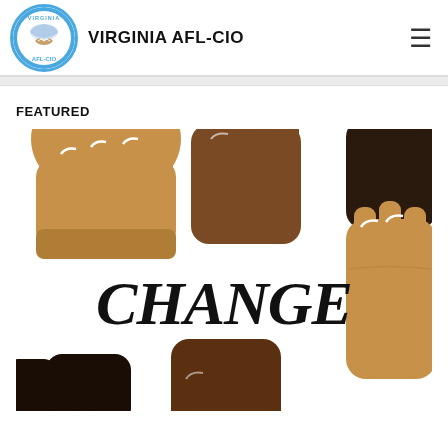VIRGINIA AFL-CIO
FEATURED
[Figure (illustration): Illustration of diverse raised fists in various skin tones (brown, dark brown, black, tan) surrounding the word CHANGE written in bold cursive/script lettering. Background is white. Fists appear from top, bottom, left, and right edges of the image.]